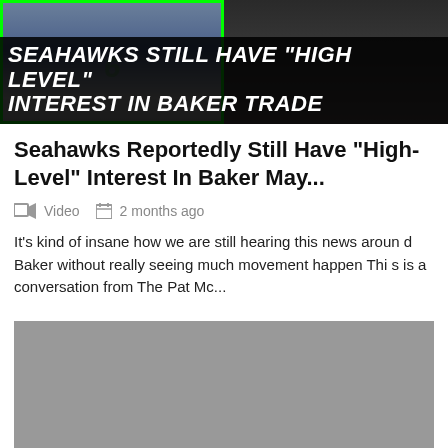[Figure (photo): Composite image showing a Seahawks NFL player in jersey on the left with a green border, and a person speaking/performing on the right, with a large headline overlay reading SEAHAWKS STILL HAVE 'HIGH LEVEL' INTEREST IN BAKER TRADE]
Seahawks Reportedly Still Have "High-Level" Interest In Baker May...
Video   2 months ago
It's kind of insane how we are still hearing this news around Baker without really seeing much movement happen This is a conversation from The Pat Mc...
[Figure (photo): Gray placeholder image / video thumbnail]